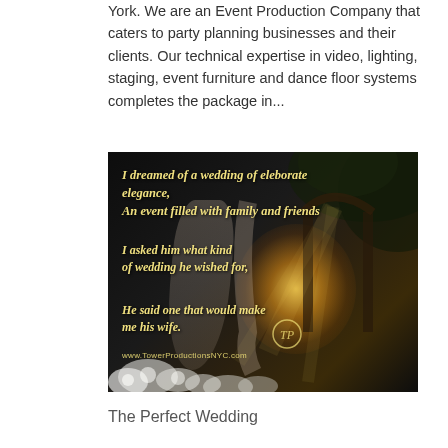York. We are an Event Production Company that caters to party planning businesses and their clients. Our technical expertise in video, lighting, staging, event furniture and dance floor systems completes the package in...
[Figure (photo): Dark atmospheric wedding photo with golden light glow through an archway, white flowers in foreground, overlaid with italic gold text: 'I dreamed of a wedding of eleborate elegance, An event filled with family and friends / I asked him what kind of wedding he wished for, / He said one that would make me his wife.' Website URL www.TowerProductionsNYC.com and TP logo visible.]
The Perfect Wedding